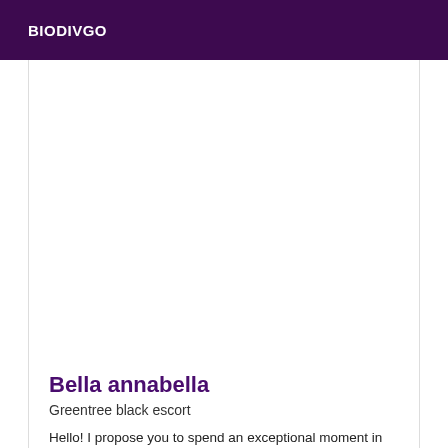BIODIVGO
[Figure (photo): Large white/blank image area representing a profile photo placeholder]
Bella annabella
Greentree black escort
Hello! I propose you to spend an exceptional moment in